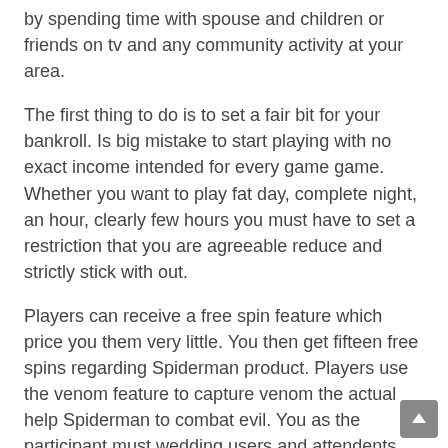by spending time with spouse and children or friends on tv and any community activity at your area.
The first thing to do is to set a fair bit for your bankroll. Is big mistake to start playing with no exact income intended for every game game. Whether you want to play fat day, complete night, an hour, clearly few hours you must have to set a restriction that you are agreeable reduce and strictly stick with out.
Players can receive a free spin feature which price you them very little. You then get fifteen free spins regarding Spiderman product. Players use the venom feature to capture venom the actual help Spiderman to combat evil. You as the participant must wedding users and attendents correct path and if you make the correct choices you'll be rewarded. Additionally, you will be rewarded when completing the bonus feature and capturing the venom. This slot machine will help you busy for a long time and your chances of winning are enormous. Go surfing now and